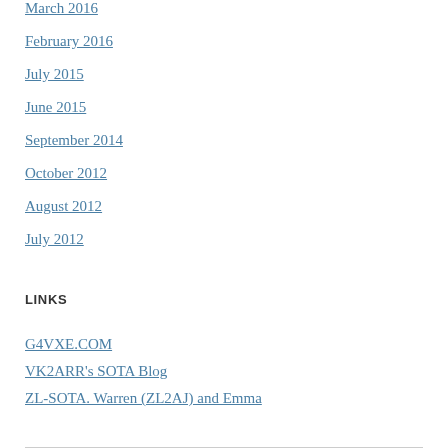March 2016
February 2016
July 2015
June 2015
September 2014
October 2012
August 2012
July 2012
LINKS
G4VXE.COM
VK2ARR's SOTA Blog
ZL-SOTA. Warren (ZL2AJ) and Emma